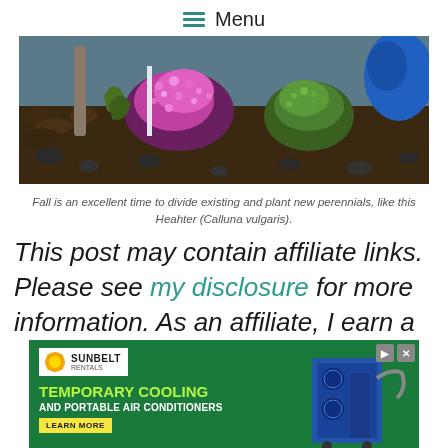Menu
[Figure (photo): Close-up garden photo showing pink heather flowers and green mossy plants among dark mulch and stones, with a person in blue visible in the background.]
Fall is an excellent time to divide existing and plant new perennials, like this Heahter (Calluna vulgaris).
This post may contain affiliate links. Please see my disclosure for more information. As an affiliate, I earn a small commission every
[Figure (infographic): Sunbelt Rentals advertisement banner. Green background with logo, headline TEMPORARY COOLING AND PORTABLE AIR CONDITIONERS, LEARN MORE button, and image of a portable AC unit.]